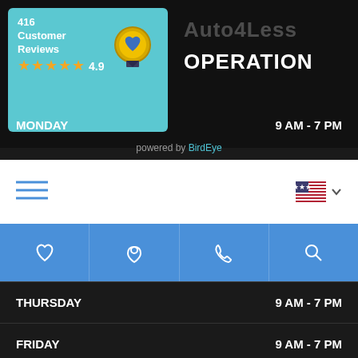[Figure (screenshot): BirdEye review widget showing 416 Customer Reviews with 4.9 star rating and badge icon on teal background]
Auto4Less
HOURS OF OPERATION
MONDAY  9 AM - 7 PM
powered by BirdEye
[Figure (screenshot): Mobile navigation bar with hamburger menu on left and US flag with dropdown on right]
[Figure (screenshot): Blue icon bar with heart, location pin, phone, and search icons]
THURSDAY  9 AM - 7 PM
FRIDAY  9 AM - 7 PM
SATURDAY  9 AM - 7 PM
SUNDAY  CLOSED